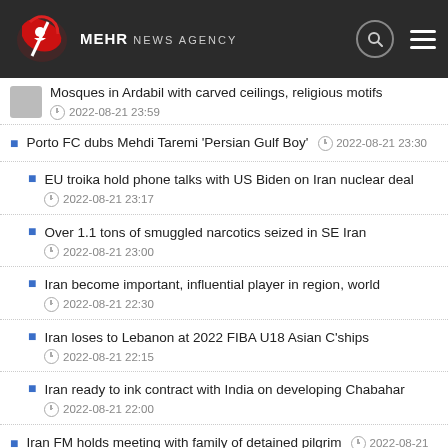[Figure (logo): Mehr News Agency logo with red swoosh symbol and text]
Mosques in Ardabil with carved ceilings, religious motifs — 2022-08-21 23:59
Porto FC dubs Mehdi Taremi 'Persian Gulf Boy' — 2022-08-21 23:30
EU troika hold phone talks with US Biden on Iran nuclear deal — 2022-08-21 23:17
Over 1.1 tons of smuggled narcotics seized in SE Iran — 2022-08-21 23:00
Iran become important, influential player in region, world — 2022-08-21 22:30
Iran loses to Lebanon at 2022 FIBA U18 Asian C'ships — 2022-08-21 22:15
Iran ready to ink contract with India on developing Chabahar — 2022-08-21 22:00
Iran FM holds meeting with family of detained pilgrim — 2022-08-21 21:40